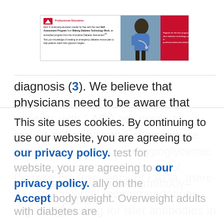[Figure (infographic): American Diabetes Association professional education banner advertisement showing a healthcare provider, with text about a Self-Assessment Program on Making Diabetes Technology Work for Innovative Diabetes Intervention, and a red section on the right.]
diagnosis (3). We believe that physicians need to be aware that patients with LADA are prone to insulin deficiency and often require rapid escalation of oral hypoglycemic treatment or commencement of insulin earlier than islet antibody–negative patients.
Despite the frequency of LADA, there are no universal recommendations regarding testing for islet antibodies in
This site uses cookies. By continuing to use our website, you are agreeing to our privacy policy. Accept body weight. Overweight adults with diabetes are